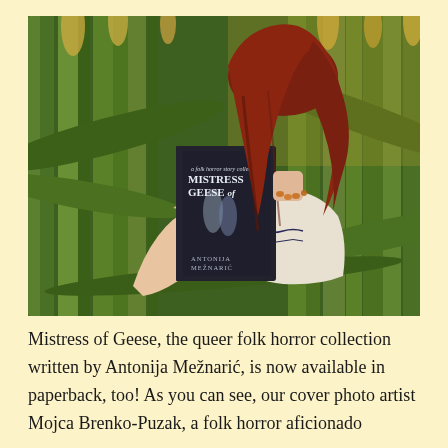[Figure (photo): A woman with long red hair standing among tall green corn stalks, holding up a book titled 'Mistress of Geese' by Antonija Mežnarić, a dark-covered folk horror story collection. The woman is photographed from behind, wearing a white embroidered blouse.]
Mistress of Geese, the queer folk horror collection written by Antonija Mežnarić, is now available in paperback, too! As you can see, our cover photo artist Mojca Brenko-Puzak, a folk horror aficionado